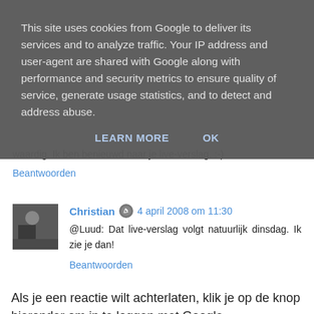This site uses cookies from Google to deliver its services and to analyze traffic. Your IP address and user-agent are shared with Google along with performance and security metrics to ensure quality of service, generate usage statistics, and to detect and address abuse.
LEARN MORE   OK
waardig. Ik ben benieuwd naar je live-verslag. :-)
Beantwoorden
Christian  4 april 2008 om 11:30
@Luud: Dat live-verslag volgt natuurlijk dinsdag. Ik zie je dan!
Beantwoorden
Als je een reactie wilt achterlaten, klik je op de knop hieronder om in te loggen met Google.
INLOGGEN MET GOOGLE